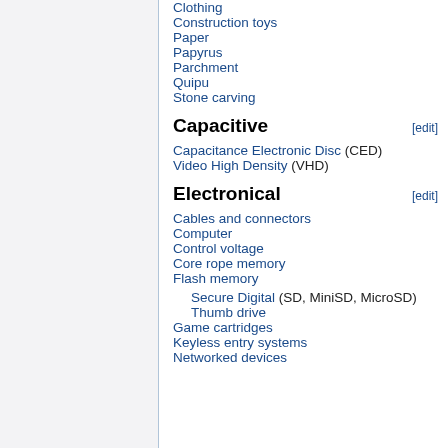Clothing
Construction toys
Paper
Papyrus
Parchment
Quipu
Stone carving
Capacitive
Capacitance Electronic Disc (CED)
Video High Density (VHD)
Electronical
Cables and connectors
Computer
Control voltage
Core rope memory
Flash memory
Secure Digital (SD, MiniSD, MicroSD)
Thumb drive
Game cartridges
Keyless entry systems
Networked devices